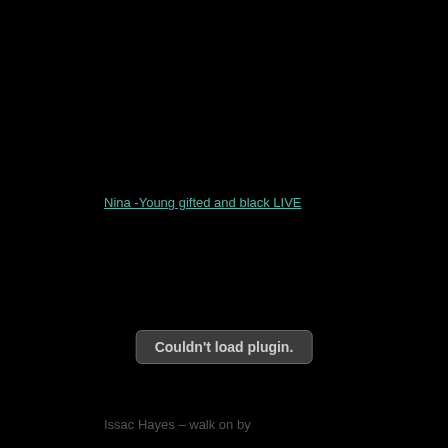Nina -Young gifted and black LIVE
[Figure (other): Embedded media plugin area showing 'Couldn't load plugin.' error message on black background]
Issac Hayes – walk on by